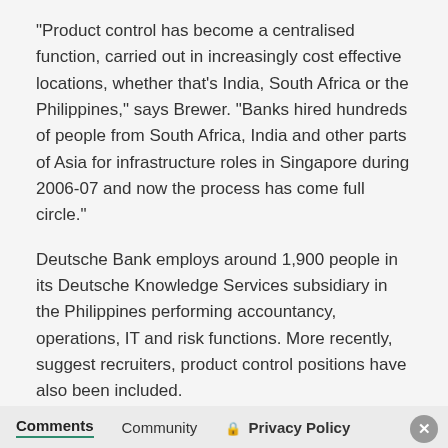“Product control has become a centralised function, carried out in increasingly cost effective locations, whether that’s India, South Africa or the Philippines,” says Brewer. “Banks hired hundreds of people from South Africa, India and other parts of Asia for infrastructure roles in Singapore during 2006-07 and now the process has come full circle.”
Deutsche Bank employs around 1,900 people in its Deutsche Knowledge Services subsidiary in the Philippines performing accountancy, operations, IT and risk functions. More recently, suggest recruiters, product control positions have also been included.
Barclays didn’t respond to request for comment.
Comments   Community   🔒 Privacy Policy